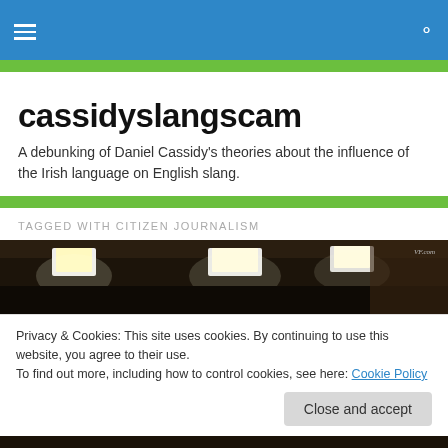cassidyslangscam — navigation header
cassidyslangscam
A debunking of Daniel Cassidy's theories about the influence of the Irish language on English slang.
TAGGED WITH CITIZEN JOURNALISM
[Figure (photo): A dark studio or newsroom interior with bright rectangular studio lights hanging from the ceiling, with a VF.com watermark in the top right corner.]
Privacy & Cookies: This site uses cookies. By continuing to use this website, you agree to their use.
To find out more, including how to control cookies, see here: Cookie Policy
Close and accept
[Figure (photo): Bottom strip showing a dark background, partial view of another image below the cookie banner.]